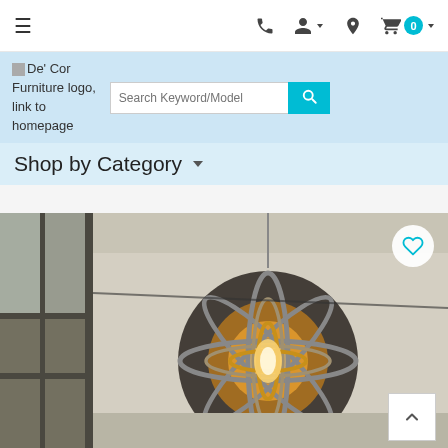≡  (phone icon) (user icon ▾) (location icon) (cart icon) 0 ▾
[Figure (logo): De' Cor Furniture logo placeholder image with text 'De' Cor Furniture logo, link to homepage']
Search Keyword/Model
Shop by Category ▾
[Figure (photo): Large pendant lamp with spherical metal cage design (orrery/armillary sphere style) in dark bronze/silver finish with warm glowing bulb inside, hanging from ceiling in a modern interior with dark-framed windows visible in background. A heart/wishlist button is overlaid at top right and a scroll-to-top arrow button at bottom right.]